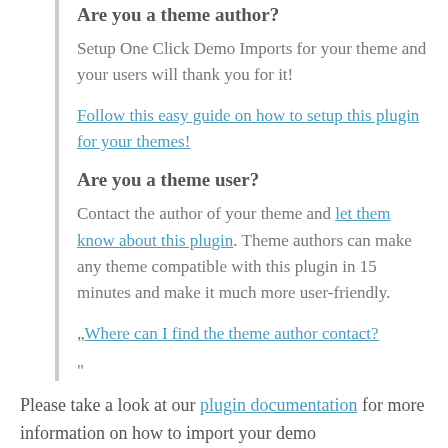Are you a theme author?
Setup One Click Demo Imports for your theme and your users will thank you for it!
Follow this easy guide on how to setup this plugin for your themes!
Are you a theme user?
Contact the author of your theme and let them know about this plugin. Theme authors can make any theme compatible with this plugin in 15 minutes and make it much more user-friendly.
„Where can I find the theme author contact?
Please take a look at our plugin documentation for more information on how to import your demo